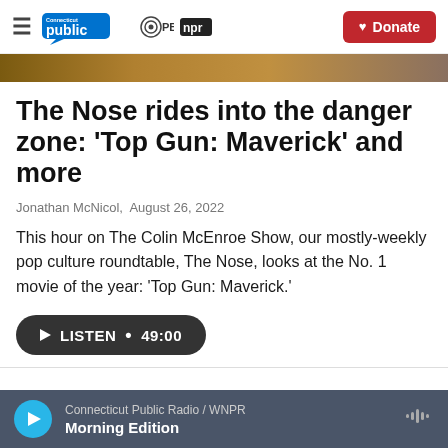Connecticut Public | PBS | NPR | Donate
[Figure (photo): Partial image strip showing a movie/TV scene in warm brown tones]
The Nose rides into the danger zone: ‘Top Gun: Maverick’ and more
Jonathan McNicol, August 26, 2022
This hour on The Colin McEnroe Show, our mostly-weekly pop culture roundtable, The Nose, looks at the No. 1 movie of the year: ‘Top Gun: Maverick.’
LISTEN • 49:00
Connecticut Public Radio / WNPR | Morning Edition